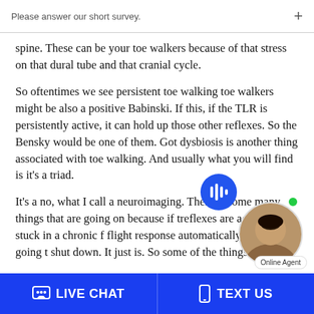Please answer our short survey.
spine. These can be your toe walkers because of that stress on that dural tube and that cranial cycle.
So oftentimes we see persistent toe walking toe walkers might be also a positive Babinski. If this, if the TLR is persistently active, it can hold up those other reflexes. So the Bensky would be one of them. Got dysbiosis is another thing associated with toe walking. And usually what you will find is it's a triad.
It's a no, what I call a neuroimaging. There is some many things that are going on because if the reflexes are active, we're stuck in a chronic f flight response automatically our gut is going to shut down. It just is. So some of the things we'
LIVE CHAT   TEXT US